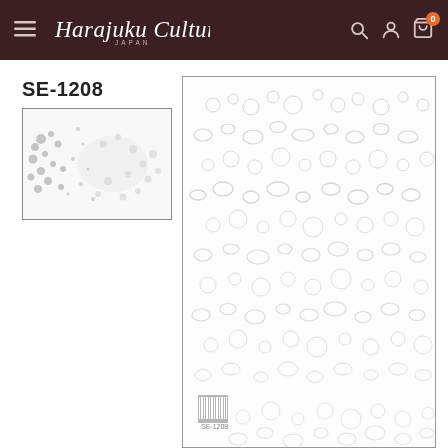Harajuku Culture JAPAN — navigation bar with menu, logo, search, account, and cart (0 items)
SE-1208
[Figure (photo): Small thumbnail image of SE-1208 product: white sheet with scattered grey floral/lace pattern clusters]
[Figure (photo): Large main product image: white sheet paper with repeating light grey floral/bubble lace pattern rows, barcode visible at bottom left]